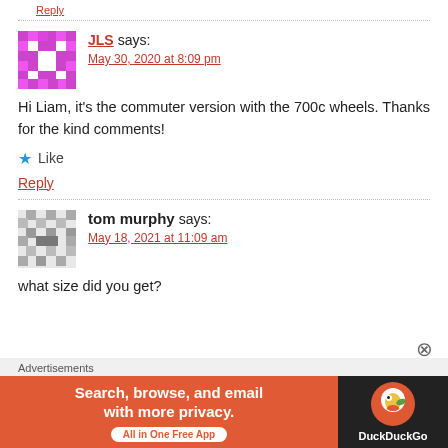Reply (top link, partial)
JLS says: May 30, 2020 at 8:09 pm
Hi Liam, it's the commuter version with the 700c wheels. Thanks for the kind comments!
★ Like
Reply
tom murphy says: May 18, 2021 at 11:09 am
what size did you get?
Advertisements
[Figure (other): DuckDuckGo advertisement banner: 'Search, browse, and email with more privacy. All in One Free App' with DuckDuckGo duck logo on dark background]